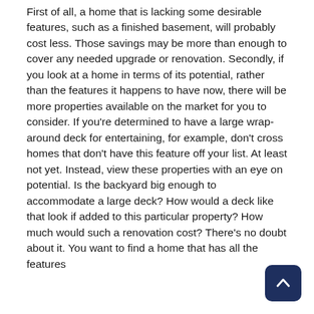First of all, a home that is lacking some desirable features, such as a finished basement, will probably cost less. Those savings may be more than enough to cover any needed upgrade or renovation. Secondly, if you look at a home in terms of its potential, rather than the features it happens to have now, there will be more properties available on the market for you to consider. If you're determined to have a large wrap-around deck for entertaining, for example, don't cross homes that don't have this feature off your list. At least not yet. Instead, view these properties with an eye on potential. Is the backyard big enough to accommodate a large deck? How would a deck like that look if added to this particular property? How much would such a renovation cost? There's no doubt about it. You want to find a home that has all the features